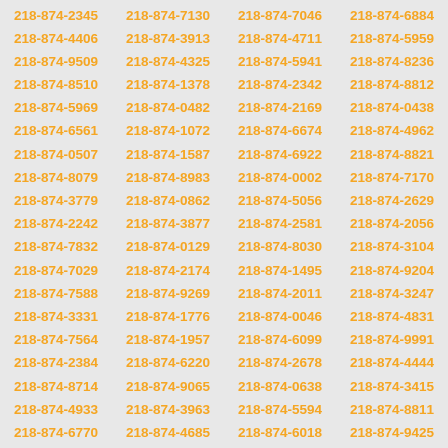Grid of phone numbers in the 218-874 area code prefix, displayed in 4 columns with orange bold text on gray background.